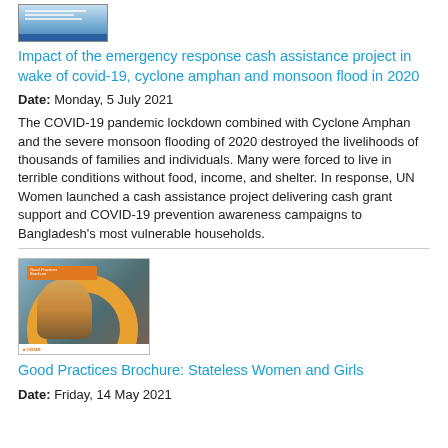[Figure (photo): Thumbnail image of a report cover with blue design and white text lines]
Impact of the emergency response cash assistance project in wake of covid-19, cyclone amphan and monsoon flood in 2020
Date: Monday, 5 July 2021
The COVID-19 pandemic lockdown combined with Cyclone Amphan and the severe monsoon flooding of 2020 destroyed the livelihoods of thousands of families and individuals. Many were forced to live in terrible conditions without food, income, and shelter. In response, UN Women launched a cash assistance project delivering cash grant support and COVID-19 prevention awareness campaigns to Bangladesh's most vulnerable households.
[Figure (photo): Thumbnail image of a brochure cover showing two women, one wearing an orange headscarf, with an orange banner and CEDAR logo at the bottom]
Good Practices Brochure: Stateless Women and Girls
Date: Friday, 14 May 2021